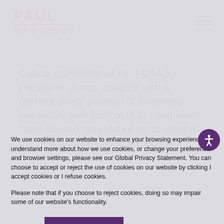PAUL HASTINGS
Critical comments of the FCPA by President Trump, coupled with a general policy position of lessening regulatory oversight of U.S. companies, have caused speculation as to whether the new administration will curtail
We use cookies on our website to enhance your browsing experience. To understand more about how we use cookies, or change your preference and browser settings, please see our Global Privacy Statement. You can choose to accept or reject the use of cookies on our website by clicking I accept cookies or I refuse cookies.
Please note that if you choose to reject cookies, doing so may impair some of our website's functionality.